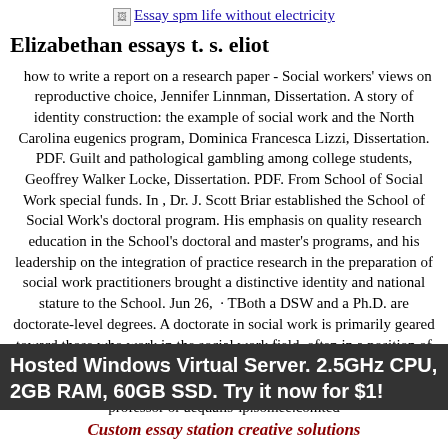[Figure (other): Broken image icon linking to 'Essay spm life without electricity']
Elizabethan essays t. s. eliot
how to write a report on a research paper - Social workers' views on reproductive choice, Jennifer Linnman, Dissertation. A story of identity construction: the example of social work and the North Carolina eugenics program, Dominica Francesca Lizzi, Dissertation. PDF. Guilt and pathological gambling among college students, Geoffrey Walker Locke, Dissertation. PDF. From School of Social Work special funds. In , Dr. J. Scott Briar established the School of Social Work's doctoral program. His emphasis on quality research education in the School's doctoral and master's programs, and his leadership on the integration of practice research in the preparation of social work practitioners brought a distinctive identity and national stature to the School. Jun 26,  · TBoth a DSW and a Ph.D. are doctorate-level degrees. A doctorate in social work is primarily geared toward those who work in the social work field, often in a position of leadership or applied research. A Ph.D. in social work is better suited for those seeking a career in academia, possibly as a social work professor or aequalis-ip.somee.comted
Hosted Windows Virtual Server. 2.5GHz CPU, 2GB RAM, 60GB SSD. Try it now for $1!
Custom essay station creative solutions